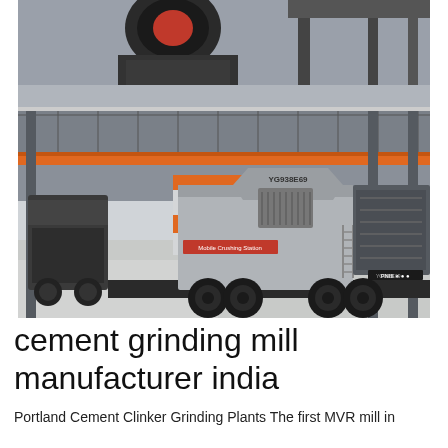[Figure (photo): Industrial factory interior showing large mobile crushing/grinding machinery (labeled YG938E69 and 'Mobile Crushing Station') on a wheeled trailer, inside a large warehouse with steel roof trusses. A smaller crusher machine is visible in the background top image.]
cement grinding mill manufacturer india
Portland Cement Clinker Grinding Plants The first MVR mill in